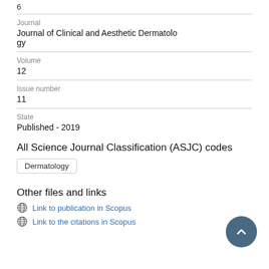6
Journal
Journal of Clinical and Aesthetic Dermatology
Volume
12
Issue number
11
State
Published - 2019
All Science Journal Classification (ASJC) codes
Dermatology
Other files and links
Link to publication in Scopus
Link to the citations in Scopus